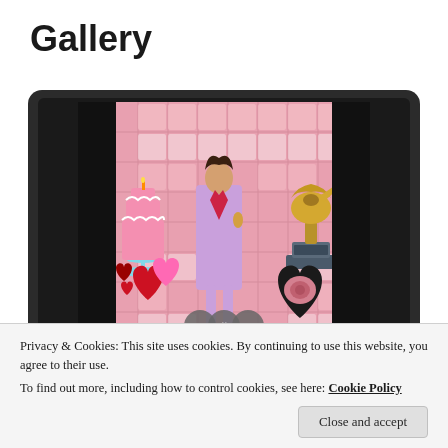Gallery
[Figure (screenshot): A laptop/tablet frame showing a colorful gallery slideshow image. The screen displays a woman in a lavender suit holding a microphone, surrounded by decorations: a pink cake on a blue stand, red and pink heart emojis, a Grammy award trophy, and a heart-shaped framed rose photo. The background is a pink grid pattern. Navigation arrows (left, pause, right) appear at the bottom of the image.]
Privacy & Cookies: This site uses cookies. By continuing to use this website, you agree to their use.
To find out more, including how to control cookies, see here: Cookie Policy
Close and accept